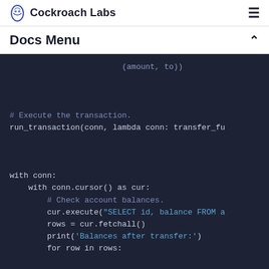Cockroach Labs
Docs Menu
(amount, to))

# Execute the transaction.
run_transaction(conn, lambda conn: transfer_fu

with conn:
    with conn.cursor() as cur:
        # Check account balances.
        cur.execute("SELECT id, balance FROM a
        rows = cur.fetchall()
        print('Balances after transfer:')
        for row in rows: